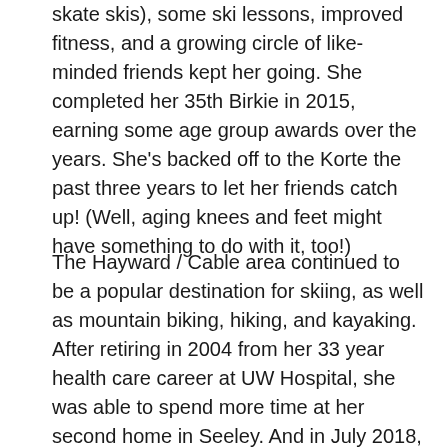skate skis), some ski lessons, improved fitness, and a growing circle of like-minded friends kept her going. She completed her 35th Birkie in 2015, earning some age group awards over the years. She's backed off to the Korte the past three years to let her friends catch up! (Well, aging knees and feet might have something to do with it, too!)
The Hayward / Cable area continued to be a popular destination for skiing, as well as mountain biking, hiking, and kayaking. After retiring in 2004 from her 33 year health care career at UW Hospital, she was able to spend more time at her second home in Seeley. And in July 2018, after almost 50 years in Madison, she sold her home there and has become a full time northwoods resident.